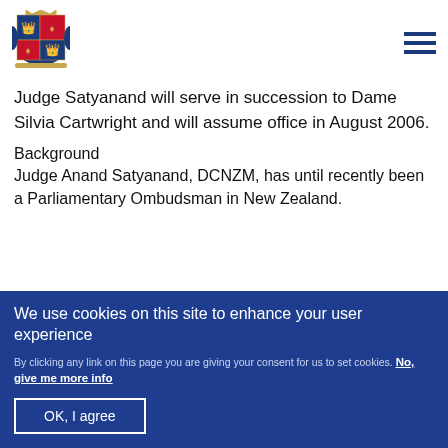[Figure (logo): UK Royal coat of arms logo in navy blue]
Judge Satyanand will serve in succession to Dame Silvia Cartwright and will assume office in August 2006.
Background
Judge Anand Satyanand, DCNZM, has until recently been a Parliamentary Ombudsman in New Zealand.
We use cookies on this site to enhance your user experience
By clicking any link on this page you are giving your consent for us to set cookies. No, give me more info
OK, I agree